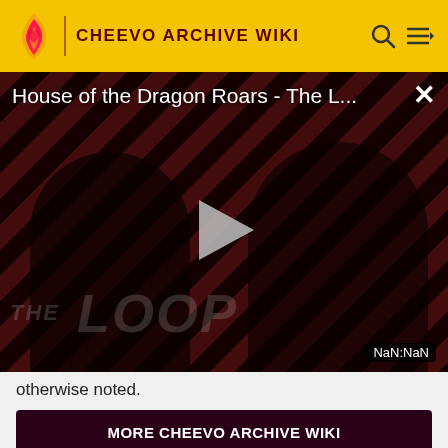CHEEVO ARCHIVE WIKI
[Figure (screenshot): Video player thumbnail showing 'House of the Dragon Roars - The L...' with a play button in the center, diagonal red and black stripe pattern background, two dark figures visible, 'THE LOOP' text watermark, and a NaN:NaN timestamp badge in the lower right corner. A close (×) button is in the upper right.]
otherwise noted.
MORE CHEEVO ARCHIVE WIKI
1  MX vs. ATV Alive